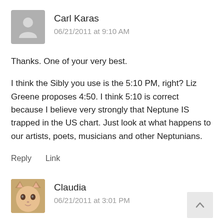[Figure (photo): Grey placeholder avatar icon for Carl Karas]
Carl Karas
06/21/2011 at 9:10 AM
Thanks. One of your very best.
I think the Sibly you use is the 5:10 PM, right? Liz Greene proposes 4:50. I think 5:10 is correct because I believe very strongly that Neptune IS trapped in the US chart. Just look at what happens to our artists, poets, musicians and other Neptunians.
Reply    Link
[Figure (illustration): Avatar image for Claudia showing a stylized doll-like face with cat ears]
Claudia
06/21/2011 at 3:01 PM